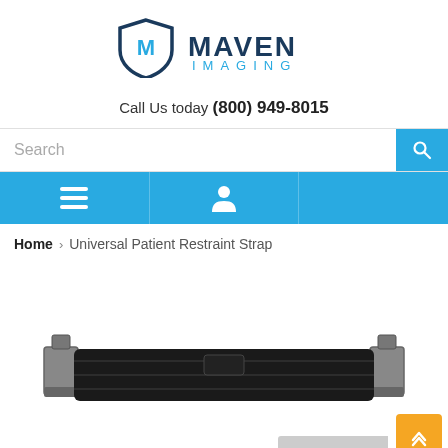[Figure (logo): Maven Imaging logo with shield/M icon and text MAVEN IMAGING]
Call Us today (800) 949-8015
[Figure (screenshot): Search bar with magnifying glass button]
[Figure (screenshot): Blue navigation bar with hamburger menu icon and user/person icon]
Home › Universal Patient Restraint Strap
[Figure (photo): Universal Patient Restraint Strap - black padded strap with metal hooks on each end, shown horizontally]